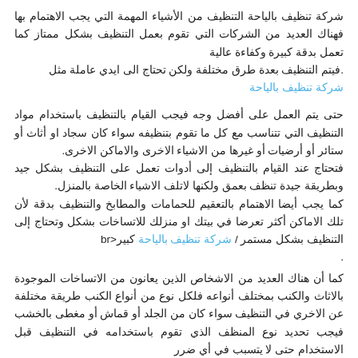شركة تنظيف بالياحة التنظيف من الأشياء المهمة التي يجب الاهتمام بها فهناك العديد من الشركات التي تقوم بعمل التنظيف بشكل ممتاز كما تعمل بدقة كبيرة وكفاءة عالية. فيتم التنظيف بعدة طرق مختلفة ولكن تحتاج الى ايدي عاملة مثل شركة تنظيف بالياحة
حتى يتم العمل على أفضل وجه فيجب القيام بالتنظيف باستخدام مواد التنظيف التي تتناسب مع كل ما تقوم بتنظيفه سواء كان سجاد او أثاث أو ستائر أو أرضيات أو غيرها من الاشياء الاخرى والاماكن الاخرى. فتحتاج عند القيام بالتنظيف إلى أدوات تعمل على التنظيف بشكل جيد وبطريقة جيدة تنظف بعمق ولكنها لاتلف الاشياء الخاصة بالمنزل. كما يجب أيضا الاهتمام بالتعقيم للحمامات والمطابخ والتنظيف بدقة لأن تلك الاماكن أكثر تعرضا في بيتك او منزلك للاتساخات بشكل وتحتاج إلى التنظيف بشكل مستمر / كبير<br شركة تنظيف بالياحة .
كما أن هناك العديد من الاشخاص الذين يعانون من الاتساخات الموجودة بالاثاث والكنب بمختلف أنواعه فلكل نوع من أنواع الكنب طريقة مختلفة عن الاخري في التنظيف سواء كان من الجلد أو قماش أو مغطى بالخشب فيجب تحديد نوع المنظف الذي تقوم باستخدامه في التنظيف قبل الاستخدام حتى لا يتسبب في أي ضرر